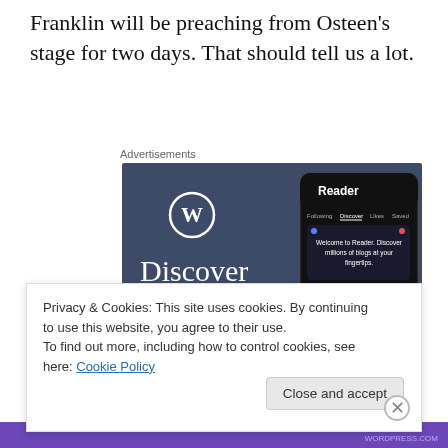Franklin will be preaching from Osteen’s stage for two days. That should tell us a lot.
Advertisements
[Figure (screenshot): WordPress advertisement showing the Reader app with text 'Discover new reads on the go.' on a dark blue-grey background, with a phone mockup showing the Reader interface.]
Privacy & Cookies: This site uses cookies. By continuing to use this website, you agree to their use.
To find out more, including how to control cookies, see here: Cookie Policy
Close and accept